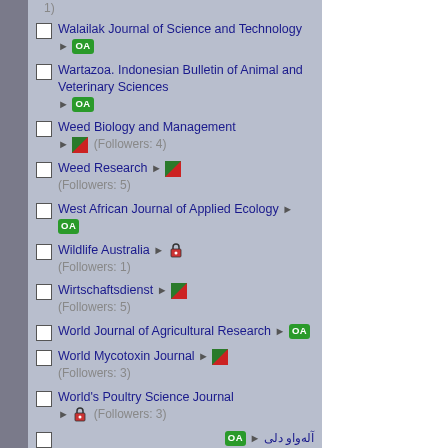1)
Walailak Journal of Science and Technology ▶ OA
Wartazoa. Indonesian Bulletin of Animal and Veterinary Sciences ▶ OA
Weed Biology and Management ▶ [icon] (Followers: 4)
Weed Research ▶ [icon] (Followers: 5)
West African Journal of Applied Ecology ▶ OA
Wildlife Australia ▶ [lock icon] (Followers: 1)
Wirtschaftsdienst ▶ [icon] (Followers: 5)
World Journal of Agricultural Research ▶ OA
World Mycotoxin Journal ▶ [icon] (Followers: 3)
World's Poultry Science Journal ▶ [lock icon] (Followers: 3)
[Arabic text] ▶ OA